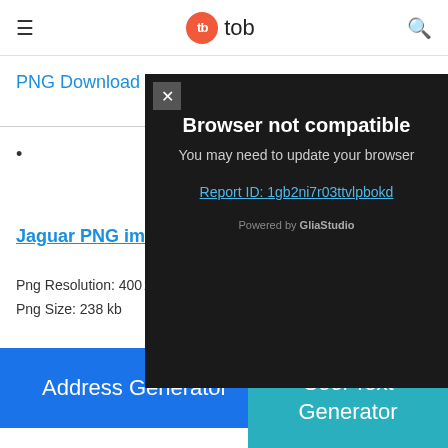tb tob
PNG Download
•
Jaguar PNG imag
Png Resolution: 400 201
Png Size: 238 kb
Powered by GliaStudio
[Figure (screenshot): Browser not compatible modal overlay on dark background with close button (×), text 'Browser not compatible', 'You may need to update your browser', and link 'Report ID: 1gb2ni7r03ttvlpbokd']
Address Generator
Cool Text Generator